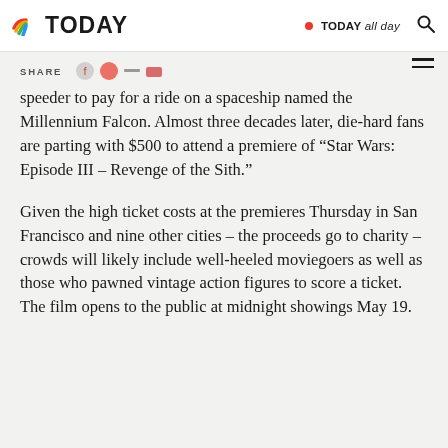TODAY | TODAY all day
SHARE
speeder to pay for a ride on a spaceship named the Millennium Falcon. Almost three decades later, die-hard fans are parting with $500 to attend a premiere of “Star Wars: Episode III – Revenge of the Sith.”
Given the high ticket costs at the premieres Thursday in San Francisco and nine other cities – the proceeds go to charity – crowds will likely include well-heeled moviegoers as well as those who pawned vintage action figures to score a ticket. The film opens to the public at midnight showings May 19.